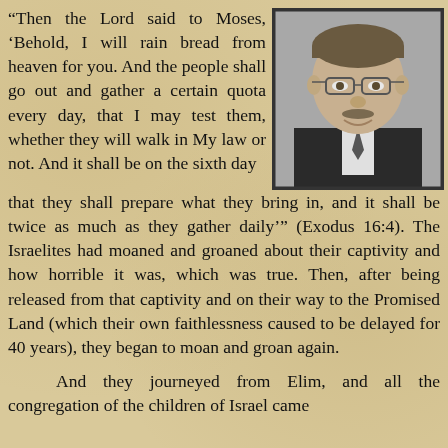“Then the Lord said to Moses, ‘Behold, I will rain bread from heaven for you. And the people shall go out and gather a certain quota every day, that I may test them, whether they will walk in My law or not. And it shall be on the sixth day that they shall prepare what they bring in, and it shall be twice as much as they gather daily’” (Exodus 16:4). The Israelites had moaned and groaned about their captivity and how horrible it was, which was true. Then, after being released from that captivity and on their way to the Promised Land (which their own faithlessness caused to be delayed for 40 years), they began to moan and groan again.
[Figure (photo): Black and white headshot photograph of a middle-aged man with glasses, wearing a suit and tie, smiling slightly.]
And they journeyed from Elim, and all the congregation of the children of Israel came